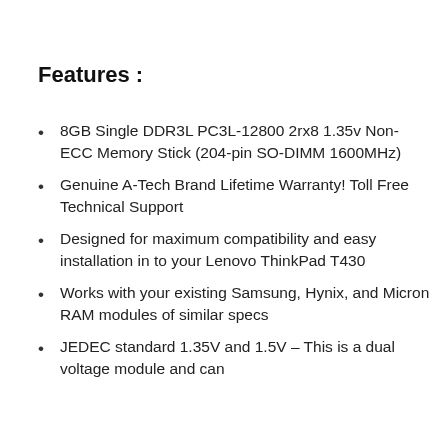Features :
8GB Single DDR3L PC3L-12800 2rx8 1.35v Non-ECC Memory Stick (204-pin SO-DIMM 1600MHz)
Genuine A-Tech Brand Lifetime Warranty! Toll Free Technical Support
Designed for maximum compatibility and easy installation in to your Lenovo ThinkPad T430
Works with your existing Samsung, Hynix, and Micron RAM modules of similar specs
JEDEC standard 1.35V and 1.5V – This is a dual voltage module and can